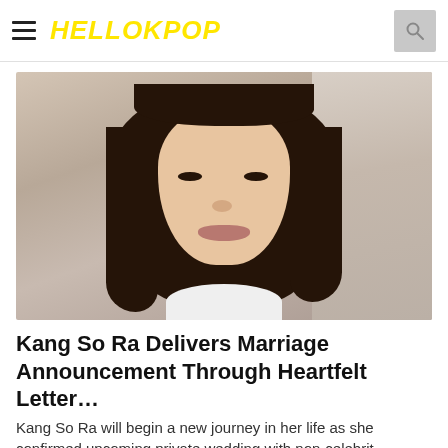HELLOKPOP
[Figure (photo): Portrait photo of Kang So Ra, a Korean actress with short dark brown hair with bangs, facing slightly left, against a light marble/stone background, wearing a white top]
Kang So Ra Delivers Marriage Announcement Through Heartfelt Letter…
Kang So Ra will begin a new journey in her life as she confirmed upcoming private wedding with non-celebrit…
HELLOKPOP